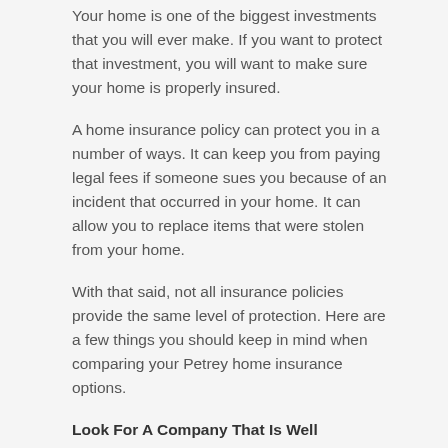Your home is one of the biggest investments that you will ever make. If you want to protect that investment, you will want to make sure your home is properly insured.
A home insurance policy can protect you in a number of ways. It can keep you from paying legal fees if someone sues you because of an incident that occurred in your home. It can allow you to replace items that were stolen from your home.
With that said, not all insurance policies provide the same level of protection. Here are a few things you should keep in mind when comparing your Petrey home insurance options.
Look For A Company That Is Well